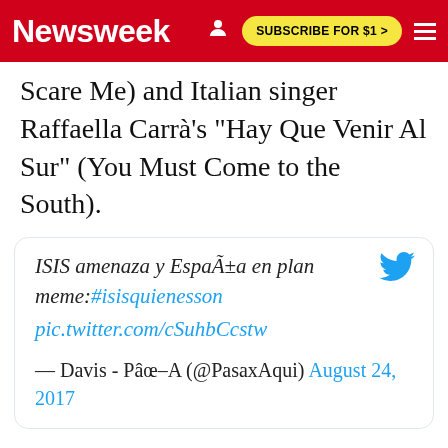Newsweek | SUBSCRIBE FOR $1 >
Scare Me) and Italian singer Raffaella Carrà's "Hay Que Venir Al Sur" (You Must Come to the South).
[Figure (screenshot): Embedded tweet card from @PasaxAqui dated August 24, 2017. Tweet text: ISIS amenaza y España en plan meme:#isisquienesson pic.twitter.com/cSuhbCcstw — Davis - Pâœ–A (@PasaxAqui) August 24, 2017]